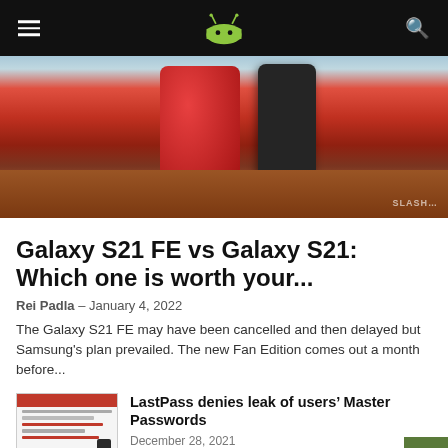AndroidAuthority navigation bar with logo
[Figure (photo): Hero image showing a Samsung smartphone leaning against a red ceramic container on a wooden surface]
Galaxy S21 FE vs Galaxy S21: Which one is worth your...
Rei Padla – January 4, 2022
The Galaxy S21 FE may have been cancelled and then delayed but Samsung's plan prevailed. The new Fan Edition comes out a month before...
[Figure (screenshot): LastPass app screenshot showing red header bar and password management interface]
LastPass denies leak of users' Master Passwords
December 28, 2021